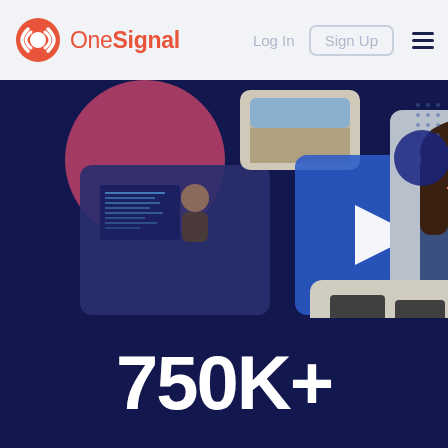[Figure (logo): OneSignal logo with circular broadcast icon in red and white, and wordmark 'OneSignal' in red]
Log In   Sign Up   ☰
[Figure (screenshot): Video player thumbnail showing office/tech scenes with a white play button triangle on a blue overlay background. Multiple overlapping images: person at computer with code, woman smiling, office desk environment.]
750K+